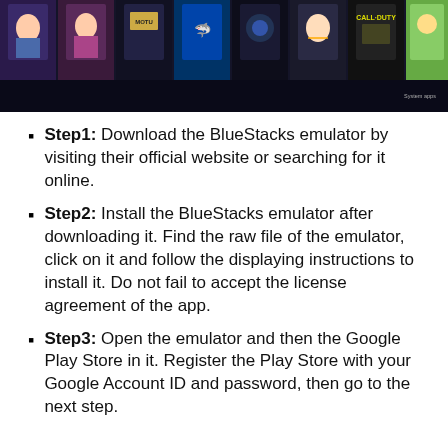[Figure (screenshot): BlueStacks emulator interface showing game icons including Free Heroes, AC BubsBom, MOTV FFB6, Hungry Shark, Nova Empire, 326, Call of Duty, Pocket Camp, System apps]
Step1: Download the BlueStacks emulator by visiting their official website or searching for it online.
Step2: Install the BlueStacks emulator after downloading it. Find the raw file of the emulator, click on it and follow the displaying instructions to install it. Do not fail to accept the license agreement of the app.
Step3: Open the emulator and then the Google Play Store in it. Register the Play Store with your Google Account ID and password, then go to the next step.